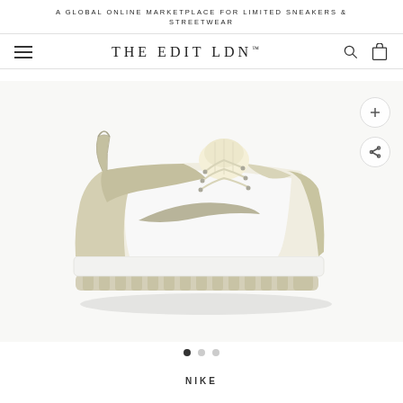A GLOBAL ONLINE MARKETPLACE FOR LIMITED SNEAKERS & STREETWEAR
THE EDIT LDN™
[Figure (photo): Nike Dunk Low Disrupt sneaker in light beige/stone and white colorway, side profile view on white background. Platform sole, deconstructed design with woven tongue detail.]
NIKE